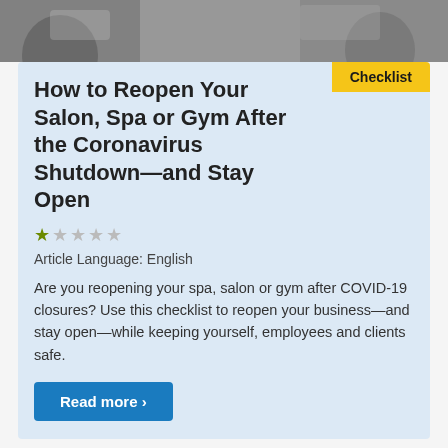[Figure (photo): Photo of people in a salon/spa/gym setting, partial view at top of card]
How to Reopen Your Salon, Spa or Gym After the Coronavirus Shutdown—and Stay Open
Checklist
★☆☆☆☆
Article Language: English
Are you reopening your spa, salon or gym after COVID-19 closures? Use this checklist to reopen your business—and stay open—while keeping yourself, employees and clients safe.
Read more >
‹ previous ... 3 4 5 6 7 8 9 10 11 ...